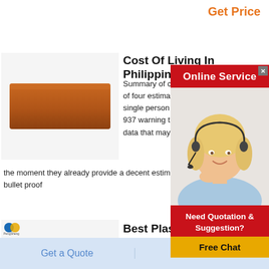Get Price
Cost Of Living In Philippines
Summary of cost of of four estimated m single person estim 937 warning these data that may have the moment they already provide a decent estimate bu bullet proof
[Figure (photo): Photo of a brown/terracotta rectangular brick]
[Figure (infographic): Online Service chat popup with female customer service agent, red banner, and Free Chat button]
Best Plastic S Philippines O
[Figure (photo): Three rectangular sealer blocks side by side]
200mm impulse plastic bag sealer sealing machine ₱ 342 00 ₱ 369 00 −7 xin0124 4 7 /5 philippine sale best selling food vacuum sealer machine e2900 heat sealing machine impulse
Get a Quote
Chat Now